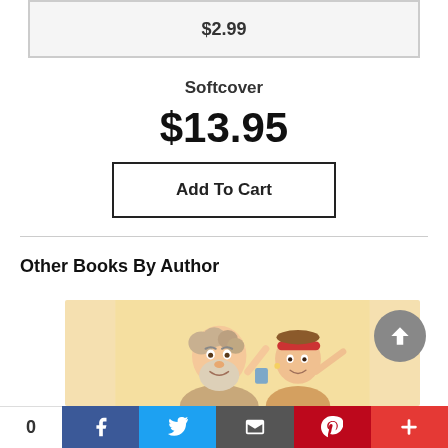|  |
| --- |
| $2.99 |
Softcover
$13.95
Add To Cart
Other Books By Author
[Figure (illustration): Cartoon illustration of two characters on a light yellow/tan background — an older bearded man and a younger person wearing a red headband, both appearing to point or gesture]
[Figure (other): Social sharing bar with count 0, Facebook, Twitter, email, Pinterest, and more (+) buttons]